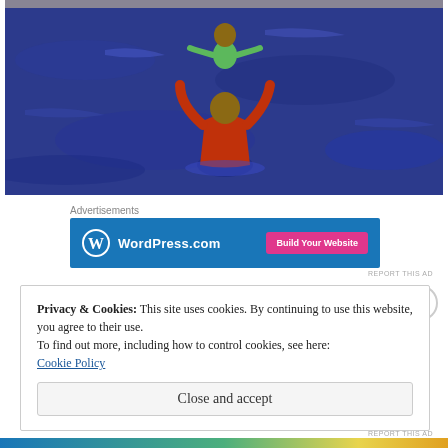[Figure (photo): A person in a red shirt standing in a swimming pool, lifting a child wearing a green swimsuit up into the air above the pool water.]
Advertisements
[Figure (other): WordPress.com advertisement banner with blue background, WordPress logo on left and 'Build Your Website' pink button on right.]
REPORT THIS AD
Privacy & Cookies: This site uses cookies. By continuing to use this website, you agree to their use.
To find out more, including how to control cookies, see here:
Cookie Policy
Close and accept